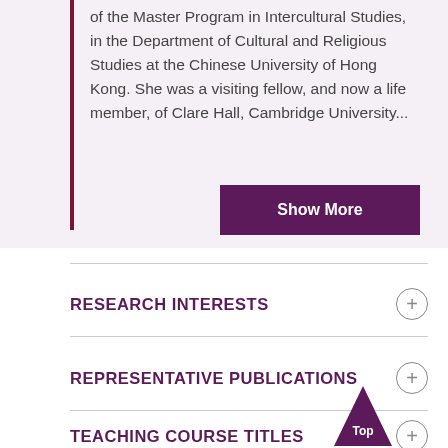of the Master Program in Intercultural Studies, in the Department of Cultural and Religious Studies at the Chinese University of Hong Kong. She was a visiting fellow, and now a life member, of Clare Hall, Cambridge University...
Show More
RESEARCH INTERESTS
REPRESENTATIVE PUBLICATIONS
TEACHING COURSE TITLES